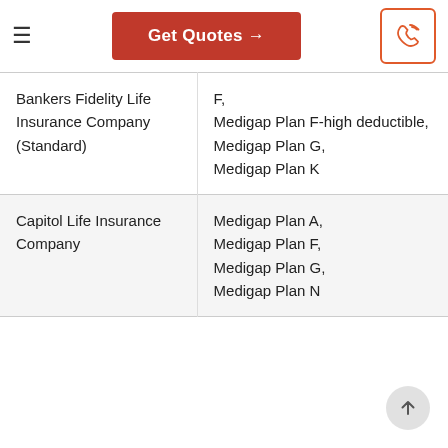Get Quotes →
| Company | Plans Available |
| --- | --- |
| Bankers Fidelity Life Insurance Company (Standard) | F,
Medigap Plan F-high deductible,
Medigap Plan G,
Medigap Plan K |
| Capitol Life Insurance Company | Medigap Plan A,
Medigap Plan F,
Medigap Plan G,
Medigap Plan N |